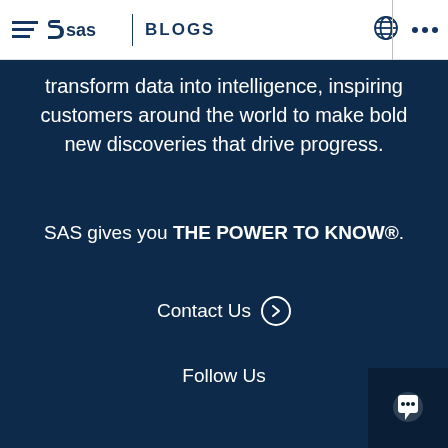SAS BLOGS
transform data into intelligence, inspiring customers around the world to make bold new discoveries that drive progress.
SAS gives you THE POWER TO KNOW®.
Contact Us
Follow Us